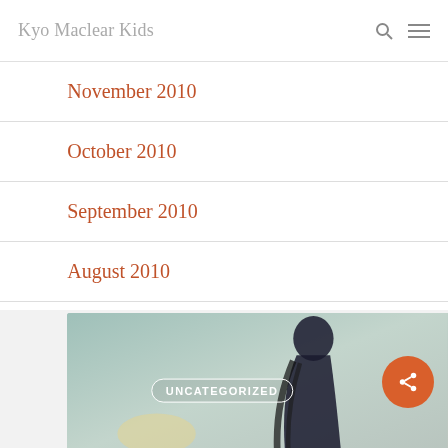Kyo Maclear Kids
November 2010
October 2010
September 2010
August 2010
Related Posts
[Figure (photo): Book cover or illustration image with UNCATEGORIZED badge overlay, showing a figure with long dark hair in a painterly style]